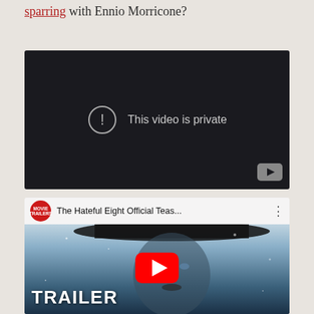sparring with Ennio Morricone?
[Figure (screenshot): Embedded video player showing a private video error. Black background with a circle-exclamation icon and text 'This video is private'. YouTube logo in bottom-right corner.]
[Figure (screenshot): YouTube video embed thumbnail for 'The Hateful Eight Official Teas...' showing a man's face with a cowboy hat in a snowy scene. Red YouTube play button in the center. 'TRAILER' text in bold white at bottom-left. Movie Trailers logo (red circle) in the top bar with video title.]